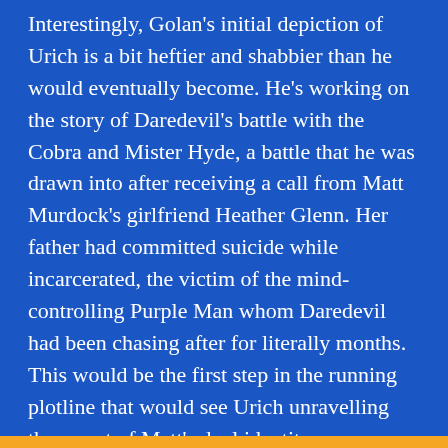Interestingly, Golan's initial depiction of Urich is a bit heftier and shabbier than he would eventually become. He's working on the story of Daredevil's battle with the Cobra and Mister Hyde, a battle that he was drawn into after receiving a call from Matt Murdock's girlfriend Heather Glenn. Her father had committed suicide while incarcerated, the victim of the mind-controlling Purple Man whom Daredevil had been chasing after for literally months. This would be the first step in the running plotline that would see Urich unravelling the secret of Matt's dual identity as Daredevil and ultimately deciding to burn the story rather than publish it. It's a sequence that's often associated with Miller (who drew most of it), but it really originated with McKenzie.